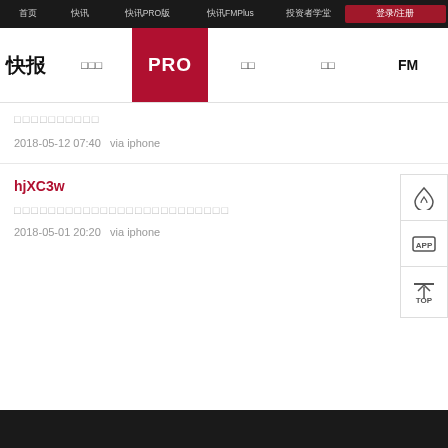首页 | 快讯 | 快讯PRO版 | 快讯FMPlus | 投资者学堂 | 登录/注册
快报  快讯PRO  PRO  快讯  行情  FM
□□□□□□□□□□
2018-05-12 07:40  via iphone
hjXC3w
□□□□□□□□□□□□□□□□□□□□□□□□□
2018-05-01 20:20  via iphone